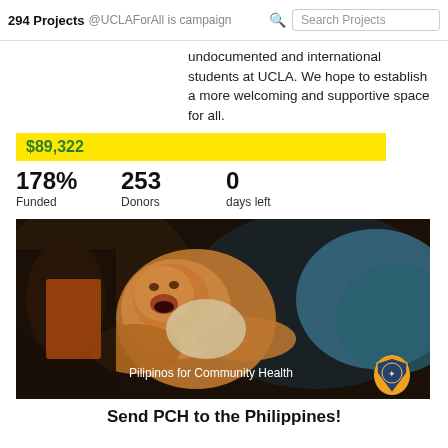294 Projects  @UCLAForAll is campaign  Search Projects
undocumented and international students at UCLA. We hope to establish a more welcoming and supportive space for all.
$89,322
178% Funded  253 Donors  0 days left
[Figure (photo): A crying baby being held by adults. Text overlay reads 'Pilipinos for Community Health' with a shield logo.]
Send PCH to the Philippines!